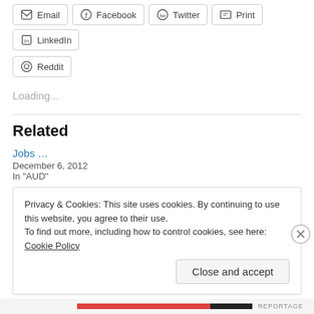Email
Facebook
Twitter
Print
LinkedIn
Reddit
Loading...
Related
Jobs …
December 6, 2012
In "AUD"
The US unemployment disaster
Privacy & Cookies: This site uses cookies. By continuing to use this website, you agree to their use.
To find out more, including how to control cookies, see here: Cookie Policy
Close and accept